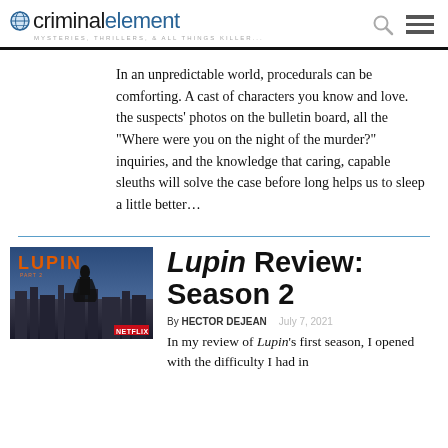criminalelement — MYSTERIES, THRILLERS, & ALL THINGS KILLER...
In an unpredictable world, procedurals can be comforting. A cast of characters you know and love. the suspects' photos on the bulletin board, all the "Where were you on the night of the murder?" inquiries, and the knowledge that caring, capable sleuths will solve the case before long helps us to sleep a little better…
[Figure (photo): Lupin Netflix show promotional image showing a figure in a dark coat standing over a cityscape of Paris with orange LUPIN title text]
Lupin Review: Season 2
By HECTOR DEJEAN   July 7, 2021
In my review of Lupin's first season, I opened with the difficulty I had in